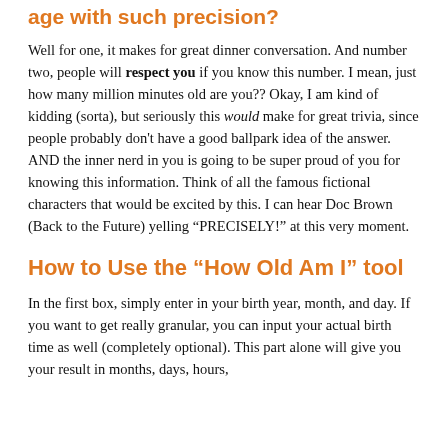age with such precision?
Well for one, it makes for great dinner conversation.  And number two, people will respect you if you know this number.  I mean, just how many million minutes old are you?? Okay, I am kind of kidding (sorta), but seriously this would make for great trivia, since people probably don't have a good ballpark idea of the answer.  AND the inner nerd in you is going to be super proud of you for knowing this information.   Think of all the famous fictional characters that would be excited by this.  I can hear Doc Brown (Back to the Future) yelling “PRECISELY!” at this very moment.
How to Use the “How Old Am I” tool
In the first box, simply enter in your birth year, month, and day.  If you want to get really granular, you can input your actual birth time as well (completely optional).  This part alone will give you your result in months, days, hours,